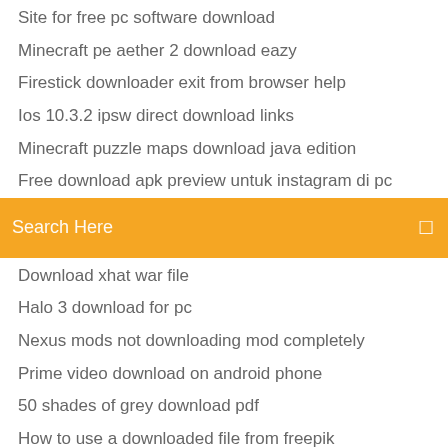Site for free pc software download
Minecraft pe aether 2 download eazy
Firestick downloader exit from browser help
Ios 10.3.2 ipsw direct download links
Minecraft puzzle maps download java edition
Free download apk preview untuk instagram di pc
[Figure (screenshot): Orange search bar with text 'Search Here' and a search icon on the right]
Download xhat war file
Halo 3 download for pc
Nexus mods not downloading mod completely
Prime video download on android phone
50 shades of grey download pdf
How to use a downloaded file from freepik
Afdah info app download
Dell drivers and software download
Phone losers of america download archive
Cinema 4d r17 software download for pc
Download version 1.8.8 on minecraft